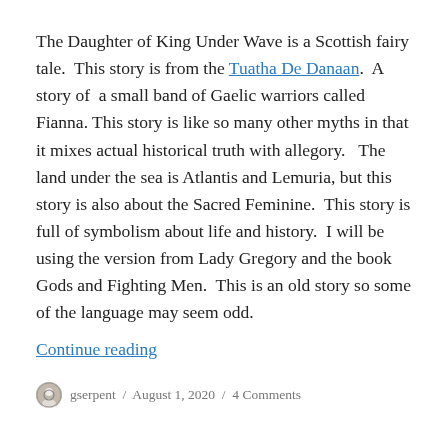The Daughter of King Under Wave is a Scottish fairy tale.  This story is from the Tuatha De Danaan.  A story of  a small band of Gaelic warriors called Fianna. This story is like so many other myths in that it mixes actual historical truth with allegory.   The land under the sea is Atlantis and Lemuria, but this story is also about the Sacred Feminine.  This story is full of symbolism about life and history.  I will be using the version from Lady Gregory and the book Gods and Fighting Men.  This is an old story so some of the language may seem odd.
Continue reading
gserpent / August 1, 2020 / 4 Comments